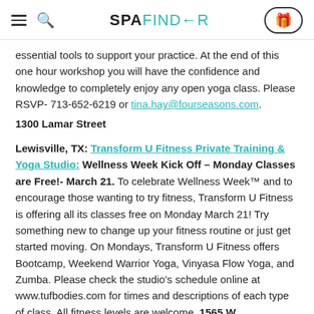SPAFINDER
essential tools to support your practice. At the end of this one hour workshop you will have the confidence and knowledge to completely enjoy any open yoga class. Please RSVP- 713-652-6219 or tina.hay@fourseasons.com.
1300 Lamar Street
Lewisville, TX: Transform U Fitness Private Training & Yoga Studio: Wellness Week Kick Off – Monday Classes are Free!- March 21. To celebrate Wellness Week™ and to encourage those wanting to try fitness, Transform U Fitness is offering all its classes free on Monday March 21!  Try something new to change up your fitness routine or just get started moving.  On Mondays, Transform U Fitness offers Bootcamp, Weekend Warrior Yoga, Vinyasa Flow Yoga, and Zumba.  Please check the studio's schedule online at www.tufbodies.com for times and descriptions of each type of class.  All fitness levels are welcome.  1565 W.